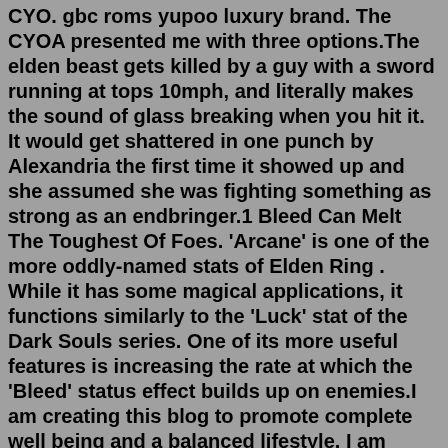CYO. gbc roms yupoo luxury brand. The CYOA presented me with three options.The elden beast gets killed by a guy with a sword running at tops 10mph, and literally makes the sound of glass breaking when you hit it. It would get shattered in one punch by Alexandria the first time it showed up and she assumed she was fighting something as strong as an endbringer.1 Bleed Can Melt The Toughest Of Foes. 'Arcane' is one of the more oddly-named stats of Elden Ring . While it has some magical applications, it functions similarly to the 'Luck' stat of the Dark Souls series. One of its more useful features is increasing the rate at which the 'Bleed' status effect builds up on enemies.I am creating this blog to promote complete well being and a balanced lifestyle. I am interested in exploring ways to encourage growth in the body, mind and spirit. I am forever exploring spirituality, health trends, diets and holistic remedies. I love to read books on self growth in thinking, health, diet, visualization and manifestation Apr 19, 2022 · The fallen leaves tell a